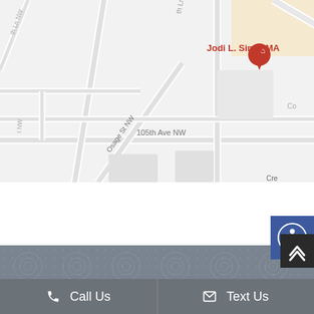[Figure (map): Google Maps screenshot showing location of Jodi L. Sims, MA with red map pin near Coon Rapids Blvd, 105th Ave NW, and Pizza Flame restaurant with orange pin nearby. Text labels visible: 'Jodi L. Sims, MA', 'Coon Rapids Blvd', '105th Ave NW', 'Pizza Flame', 'Osage St NW', 'Cre Academy Co']
[Figure (other): Blue accessibility icon button (person in circle) on right side]
[Figure (other): Gray decorative footer pattern with swirl/medallion background texture and a dark scroll-to-top arrow button]
Call Us
Text Us